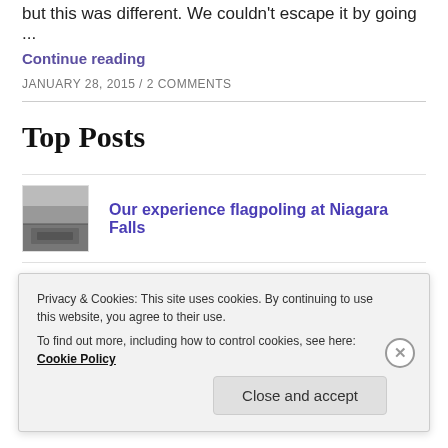but this was different. We couldn't escape it by going ...
Continue reading
JANUARY 28, 2015 / 2 COMMENTS
Top Posts
Our experience flagpoling at Niagara Falls
A rainy day at Toronto Zoo
Privacy & Cookies: This site uses cookies. By continuing to use this website, you agree to their use. To find out more, including how to control cookies, see here: Cookie Policy
Close and accept